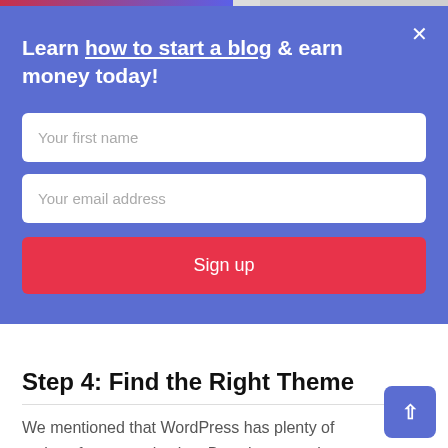[Figure (screenshot): Progress bar at top of page, partially filled from left with gradient pink-to-blue color]
Learn how to start a blog & earn money today!
Your first name
Your email address
Sign up
Step 4: Find the Right Theme
We mentioned that WordPress has plenty of options for customization. But when exactly will that come in handy?